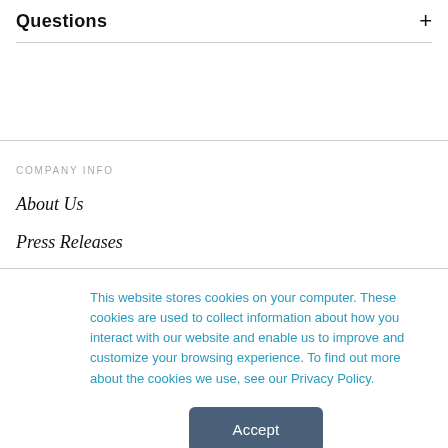Questions
COMPANY INFO
About Us
Press Releases
This website stores cookies on your computer. These cookies are used to collect information about how you interact with our website and enable us to improve and customize your browsing experience. To find out more about the cookies we use, see our Privacy Policy.
Accept